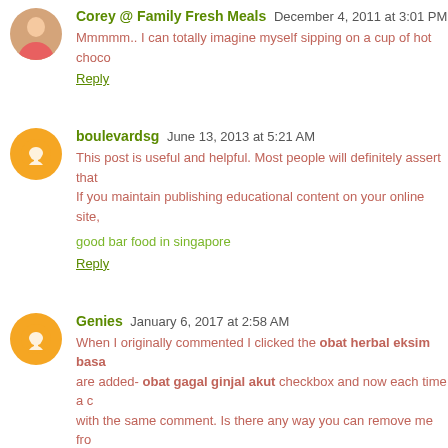Corey @ Family Fresh Meals  December 4, 2011 at 3:01 PM
Mmmmm.. I can totally imagine myself sipping on a cup of hot choco
Reply
boulevardsg  June 13, 2013 at 5:21 AM
This post is useful and helpful. Most people will definitely assert that
If you maintain publishing educational content on your online site,
good bar food in singapore
Reply
Genies  January 6, 2017 at 2:58 AM
When I originally commented I clicked the obat herbal eksim basa checkbox and now each time a c with the same comment. Is there any way you can remove me fro mark Thanks!
Reply
Gentle boy  February 18, 2021 at 12:26 PM